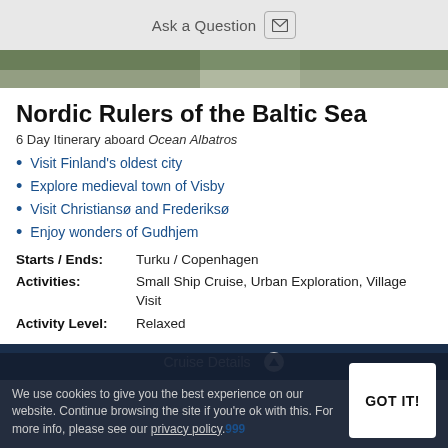Ask a Question
[Figure (photo): Outdoor photo strip showing a green landscape, possibly a garden or park area]
Nordic Rulers of the Baltic Sea
6 Day Itinerary aboard Ocean Albatros
Visit Finland's oldest city
Explore medieval town of Visby
Visit Christiansø and Frederiksø
Enjoy wonders of Gudhjem
| Field | Value |
| --- | --- |
| Starts / Ends: | Turku / Copenhagen |
| Activities: | Small Ship Cruise, Urban Exploration, Village Visit |
| Activity Level: | Relaxed |
Cruise Details
We use cookies to give you the best experience on our website. Continue browsing the site if you're ok with this. For more info, please see our privacy policy.